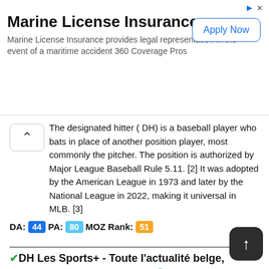[Figure (screenshot): Advertisement banner for Marine License Insurance with 'Apply Now' button]
The designated hitter ( DH) is a baseball player who bats in place of another position player, most commonly the pitcher. The position is authorized by Major League Baseball Rule 5.11. [2] It was adopted by the American League in 1973 and later by the National League in 2022, making it universal in MLB. [3]
DA: 44 PA: 80 MOZ Rank: 51
✔DH Les Sports+ - Toute l'actualité belge, internationale, régionale ...
dhnet.be
https://www.dhnet.be/
Toute l'actualité belge, internationale, régionale et sportive, c'est sur DH Les Sports+
DA: 46 PA: 83 MOZ Rank: 59